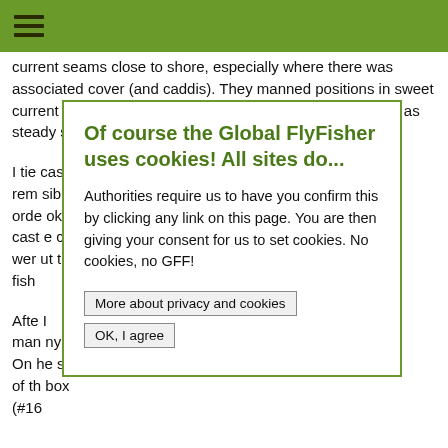≡
current seams close to shore, especially where there was associated cover (and caddis). They manned positions in sweet current slicks alongside logs, rocks, or bushes in the water as steady supplies of downed caddis swept by.
I tie... casting, rem... sible in orde... ok. I cast... e casts wer... ut the fish...
Afte... I man... ny hand. On ... he size of th... box (#16...
Of course the Global FlyFisher uses cookies! All sites do...
Authorities require us to have you confirm this by clicking any link on this page. You are then giving your consent for us to set cookies. No cookies, no GFF!
More about privacy and cookies
OK, I agree